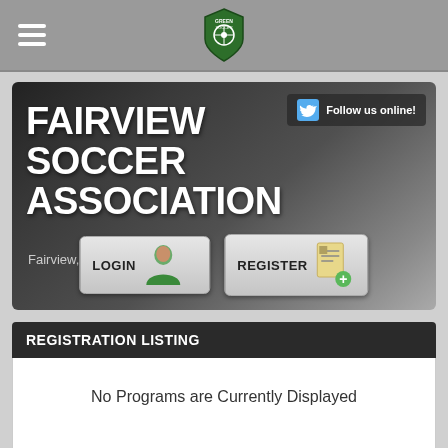Navigation bar with hamburger menu and Green Soccer League logo
[Figure (screenshot): Fairview Soccer Association hero banner with dark gradient background, Twitter follow button, LOGIN and REGISTER buttons, and subtitle 'Fairview, Tennessee']
FAIRVIEW SOCCER ASSOCIATION
Fairview, Tennessee
REGISTRATION LISTING
No Programs are Currently Displayed